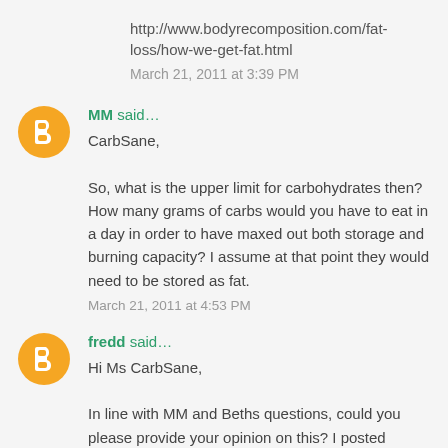http://www.bodyrecomposition.com/fat-loss/how-we-get-fat.html
March 21, 2011 at 3:39 PM
MM said...
CarbSane,

So, what is the upper limit for carbohydrates then? How many grams of carbs would you have to eat in a day in order to have maxed out both storage and burning capacity? I assume at that point they would need to be stored as fat.
March 21, 2011 at 4:53 PM
fredd said...
Hi Ms CarbSane,

In line with MM and Beths questions, could you please provide your opinion on this? I posted